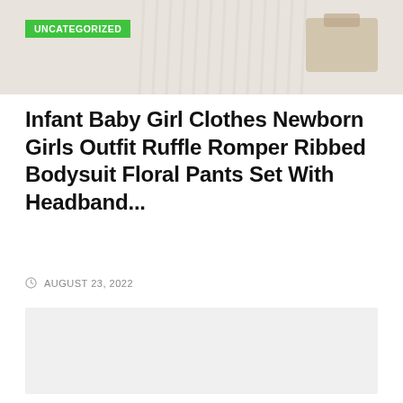[Figure (photo): Product image area showing baby clothing items on light beige/cream background with UNCATEGORIZED green badge label]
Infant Baby Girl Clothes Newborn Girls Outfit Ruffle Romper Ribbed Bodysuit Floral Pants Set With Headband...
AUGUST 23, 2022
[Figure (other): Gray content placeholder box]